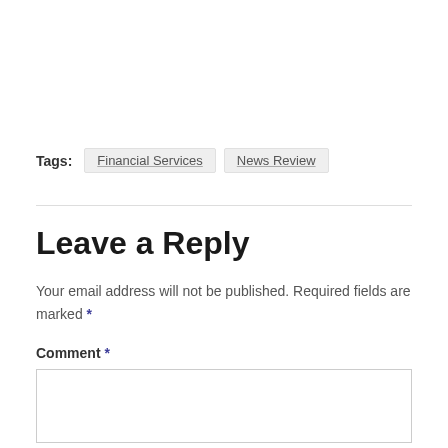Tags: Financial Services   News Review
Leave a Reply
Your email address will not be published. Required fields are marked *
Comment *